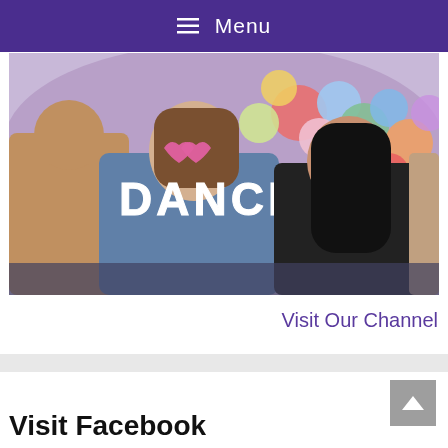Menu
[Figure (photo): Party scene with people dancing, woman in heart-shaped pink sunglasses and blue hoodie, another woman with long dark hair, colorful balloons in background, text overlay reading DANCE]
Visit Our Channel
Visit Facebook